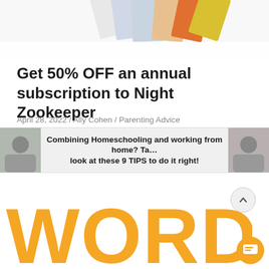[Figure (illustration): Scattered book covers fanned out at the top of the page]
Get 50% OFF an annual subscription to Night Zookeeper
April 28, 2022 / Ally Cohen / Parenting Advice
[Figure (illustration): Banner with two photos on left and right edges showing children, and centered bold text: Combining Homeschooling and working from home? Take a look at these 9 TIPS to do it right!]
Combining Homeschooling and working from home? Take a look at these 9 TIPS to do it right ↓
[Figure (illustration): Large orange bubbly text spelling WORDS partially visible at the bottom of the page]